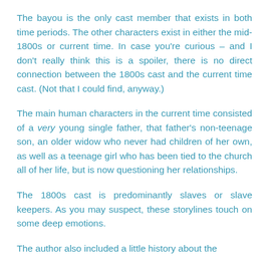The bayou is the only cast member that exists in both time periods. The other characters exist in either the mid-1800s or current time. In case you're curious – and I don't really think this is a spoiler, there is no direct connection between the 1800s cast and the current time cast. (Not that I could find, anyway.)
The main human characters in the current time consisted of a very young single father, that father's non-teenage son, an older widow who never had children of her own, as well as a teenage girl who has been tied to the church all of her life, but is now questioning her relationships.
The 1800s cast is predominantly slaves or slave keepers. As you may suspect, these storylines touch on some deep emotions.
The author also included a little history about the